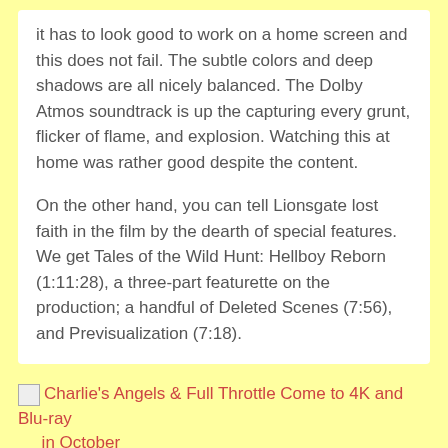it has to look good to work on a home screen and this does not fail. The subtle colors and deep shadows are all nicely balanced. The Dolby Atmos soundtrack is up the capturing every grunt, flicker of flame, and explosion. Watching this at home was rather good despite the content.
On the other hand, you can tell Lionsgate lost faith in the film by the dearth of special features. We get Tales of the Wild Hunt: Hellboy Reborn (1:11:28), a three-part featurette on the production; a handful of Deleted Scenes (7:56), and Previsualization (7:18).
[Figure (other): Broken image icon placeholder followed by link text: Charlie's Angels & Full Throttle Come to 4K and Blu-ray in October]